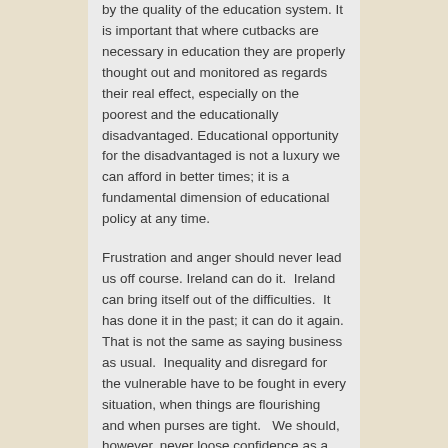by the quality of the education system. It is important that where cutbacks are necessary in education they are properly thought out and monitored as regards their real effect, especially on the poorest and the educationally disadvantaged. Educational opportunity for the disadvantaged is not a luxury we can afford in better times; it is a fundamental dimension of educational policy at any time.
Frustration and anger should never lead us off course. Ireland can do it.  Ireland can bring itself out of the difficulties.  It has done it in the past; it can do it again. That is not the same as saying business as usual.  Inequality and disregard for the vulnerable have to be fought in every situation, when things are flourishing and when purses are tight.   We should, however, never loose confidence as a